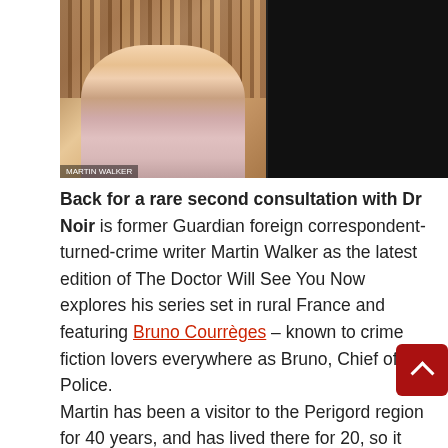[Figure (screenshot): Video call screenshot showing two participants: an older man on the left in front of a bookshelf, and a woman on the right with a headset. Caption bars at bottom of each panel.]
Back for a rare second consultation with Dr Noir is former Guardian foreign correspondent-turned-crime writer Martin Walker as the latest edition of The Doctor Will See You Now explores his series set in rural France and featuring Bruno Courrèges – known to crime fiction lovers everywhere as Bruno, Chief of Police.

Martin has been a visitor to the Perigord region for 40 years, and has lived there for 20, so it seems only right that his books are steeped in the place and its history. "The way you write totally